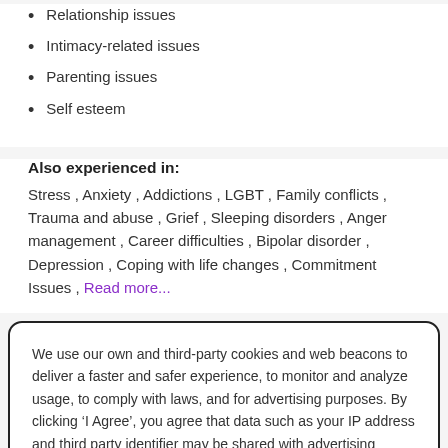Relationship issues
Intimacy-related issues
Parenting issues
Self esteem
Also experienced in:
Stress , Anxiety , Addictions , LGBT , Family conflicts , Trauma and abuse , Grief , Sleeping disorders , Anger management , Career difficulties , Bipolar disorder , Depression , Coping with life changes , Commitment Issues , Read more...
We use our own and third-party cookies and web beacons to deliver a faster and safer experience, to monitor and analyze usage, to comply with laws, and for advertising purposes. By clicking ‘I Agree’, you agree that data such as your IP address and third party identifier may be shared with advertising partners to help us deliver more relevant ads. To update your settings or opt out, go to ‘Cookie Settings’. To learn more read our Privacy Policy.